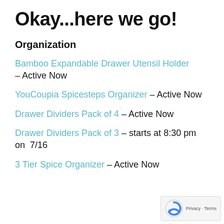Okay...here we go!
Organization
Bamboo Expandable Drawer Utensil Holder – Active Now
YouCoupia Spicesteps Organizer – Active Now
Drawer Dividers Pack of 4 – Active Now
Drawer Dividers Pack of 3 – starts at 8:30 pm on  7/16
3 Tier Spice Organizer – Active Now